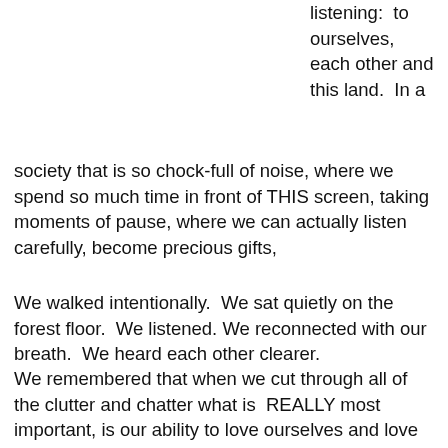listening:  to ourselves, each other and this land.  In a society that is so chock-full of noise, where we spend so much time in front of THIS screen, taking moments of pause, where we can actually listen carefully, become precious gifts,
We walked intentionally.  We sat quietly on the forest floor.  We listened. We reconnected with our breath.  We heard each other clearer.
We remembered that when we cut through all of the clutter and chatter what is  REALLY most important, is our ability to love ourselves and love each other.  If we don't get that right, then all the rest seems meaningless and empty. As we mark the end of another exhilaratingly beautiful and excruciatingly heartbreaking year, may we continue to grow our relationships stronger, rooted